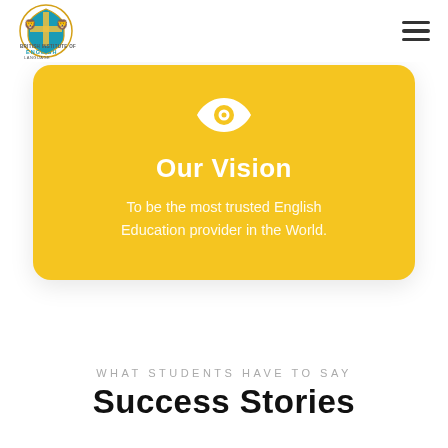[Figure (logo): British Institute of English Language crest/logo with two lions, a shield, and text]
[Figure (infographic): Yellow rounded card with a white eye icon, 'Our Vision' heading, and text: To be the most trusted English Education provider in the World.]
WHAT STUDENTS HAVE TO SAY
Success Stories